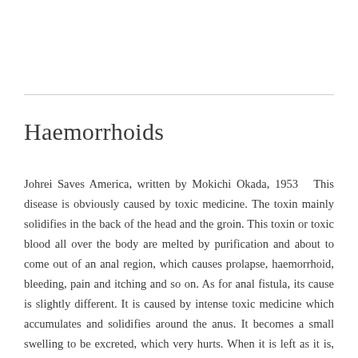Haemorrhoids
Johrei Saves America, written by Mokichi Okada, 1953   This disease is obviously caused by toxic medicine. The toxin mainly solidifies in the back of the head and the groin. This toxin or toxic blood all over the body are melted by purification and about to come out of an anal region, which causes prolapse, haemorrhoid, bleeding, pain and itching and so on. As for anal fistula, its cause is slightly different. It is caused by intense toxic medicine which accumulates and solidifies around the anus. It becomes a small swelling to be excreted, which very hurts. When it is left as it is, toxins will be steadily discharged from [...]